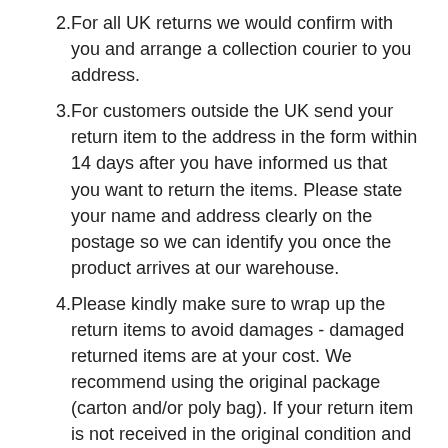2. For all UK returns we would confirm with you and arrange a collection courier to you address.
3. For customers outside the UK send your return item to the address in the form within 14 days after you have informed us that you want to return the items. Please state your name and address clearly on the postage so we can identify you once the product arrives at our warehouse.
4. Please kindly make sure to wrap up the return items to avoid damages - damaged returned items are at your cost. We recommend using the original package (carton and/or poly bag). If your return item is not received in the original condition and packaging, we may make a deduction in your refund.
Exchanges